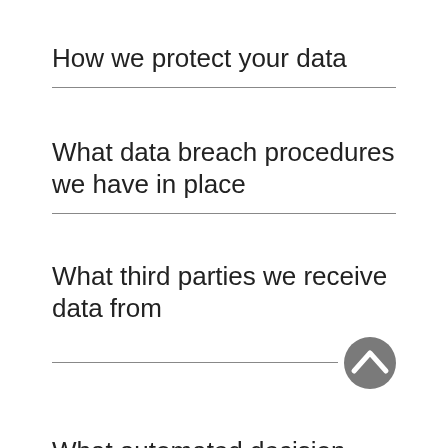How we protect your data
What data breach procedures we have in place
What third parties we receive data from
What automated decision